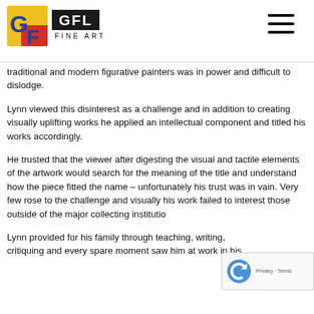[Figure (logo): GFL Fine Art logo with colorful GF icon on left and GFL FINE ART text on right, plus hamburger menu icon on far right]
traditional and modern figurative painters was in power and difficult to dislodge.
Lynn viewed this disinterest as a challenge and in addition to creating visually uplifting works he applied an intellectual component and titled his works accordingly.
He trusted that the viewer after digesting the visual and tactile elements of the artwork would search for the meaning of the title and understand how the piece fitted the name – unfortunately his trust was in vain. Very few rose to the challenge and visually his work failed to interest those outside of the major collecting institutio...
Lynn provided for his family through teaching, writing, critiquing and every spare moment saw him at work in his...